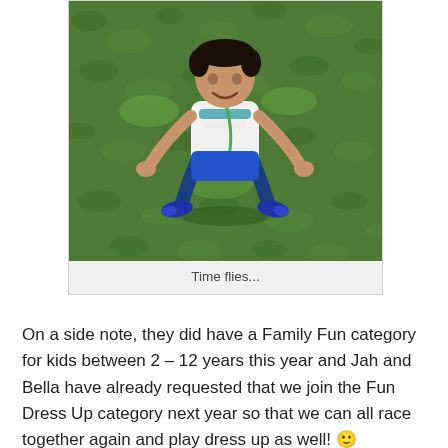[Figure (photo): A young boy wearing a white t-shirt, shorts, and blue sneakers with a green lanyard/medal, jumping or running on green grass, photographed from above.]
Time flies...
On a side note, they did have a Family Fun category for kids between 2 – 12 years this year and Jah and Bella have already requested that we join the Fun Dress Up category next year so that we can all race together again and play dress up as well! 🙂